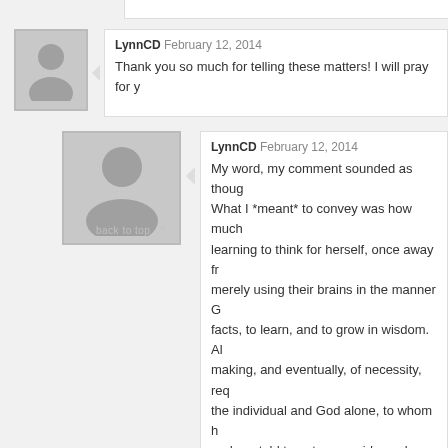[Figure (other): Top border strip of a previous comment block]
LynnCD February 12, 2014
Thank you so much for telling these matters! I will pray for y
[Figure (other): User avatar silhouette (medium) for second comment]
LynnCD February 12, 2014
My word, my comment sounded as thoug What I *meant* to convey was how much learning to think for herself, once away fr merely using their brains in the manner G facts, to learn, and to grow in wisdom. Al making, and eventually, of necessity, req the individual and God alone, to whom h and are told to get your guidance by taki And the person becomes very easy to co endured, and am very grateful she share life.
[Figure (other): User avatar silhouette (small) for next comment at bottom]